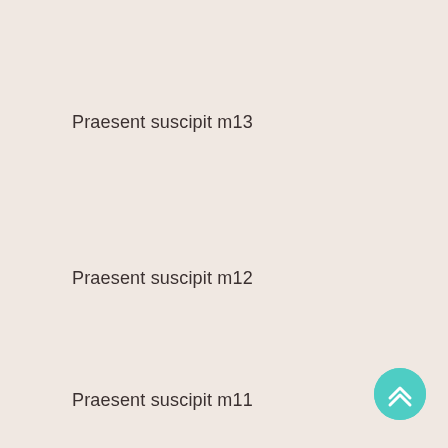Praesent suscipit m13
Praesent suscipit m12
Praesent suscipit m11
[Figure (other): Teal circular floating action button with double up-chevron arrow icon]